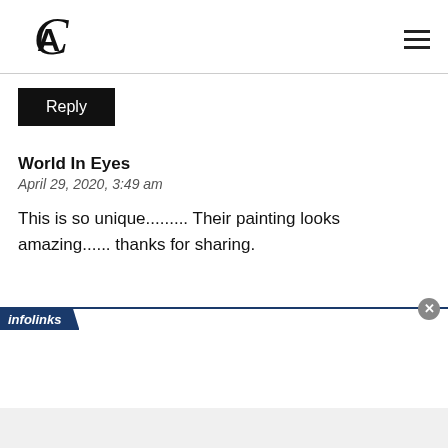CA logo and hamburger menu
Reply
World In Eyes
April 29, 2020, 3:49 am
This is so unique......... Their painting looks amazing...... thanks for sharing.
[Figure (screenshot): Infolinks advertisement bar with close button at bottom of page]